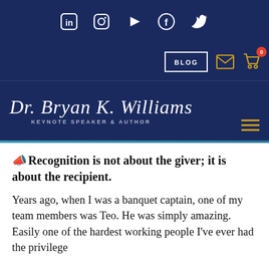[Figure (screenshot): Top navigation bar with social media icons: LinkedIn, Instagram, YouTube, Facebook, Twitter on dark navy background]
[Figure (screenshot): Website navigation bar with BLOG button, email icon, and shopping cart icon with badge showing 0, on dark navy background]
[Figure (logo): Dr. Bryan K. Williams logo with script font and tagline KEYNOTE SPEAKER & AUTHOR on navy background, with hamburger menu icon]
📢Recognition is not about the giver; it is about the recipient.
Years ago, when I was a banquet captain, one of my team members was Teo. He was simply amazing. Easily one of the hardest working people I've ever had the privilege